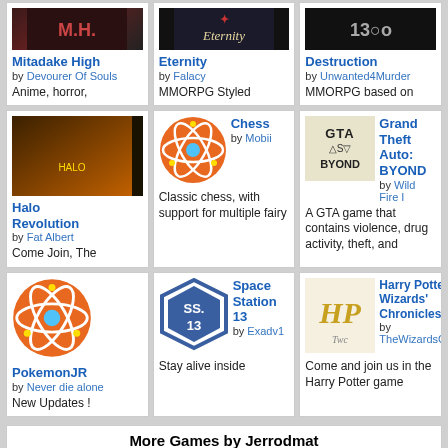[Figure (screenshot): Mitadake High game thumbnail - dark anime style]
Mitadake High
by Devourer Of Souls
Anime, horror,
[Figure (screenshot): Eternity game thumbnail - dark fantasy]
Eternity
by Falacy
MMORPG Styled
[Figure (screenshot): Destruction game thumbnail]
Destruction
by Unwanted4Murder
MMORPG based on
[Figure (screenshot): Halo Revolution game thumbnail]
Halo Revolution
by Fat Albert
Come Join, The
[Figure (illustration): Chess atom icon - orange circle with atomic orbital design]
Chess
by Mobii
Classic chess, with support for multiple fairy
[Figure (screenshot): Grand Theft Auto BYOND game thumbnail]
Grand Theft Auto: BYOND
by Wild Fire I
A GTA game that contains violence, drug activity, theft, and
[Figure (illustration): PokemonJR atom icon - orange circle with atomic orbital design]
PokemonJR
by Never die alone
New Updates !
[Figure (screenshot): Space Station 13 badge logo - blue hexagonal badge]
Space Station 13
by Exadv1
Stay alive inside
[Figure (screenshot): Harry Potter: The Wizards' Chronicles HP logo]
Harry Potter: The Wizards' Chronicles
by TheWizardsChronicles
Come and join us in the Harry Potter game
More Games by Jerrodmat
[Figure (illustration): Atom icon for unnamed game]
[Figure (illustration): Atom icon for Kindom Hearts]
Kindom Hearts
[Figure (illustration): Atom icon for Inuyasha a]
Inuyasha a